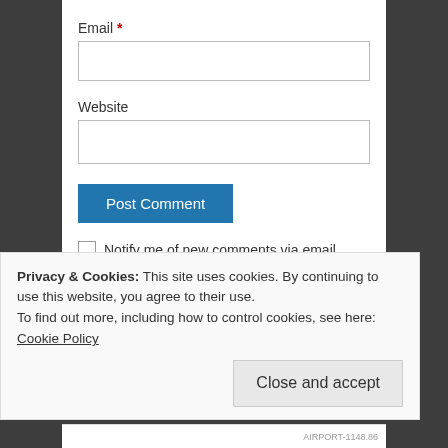Email *
Website
Post Comment
Notify me of new comments via email.
Notify me of new posts via email.
This site uses Akismet to reduce spam. Learn how your comment data is processed.
Privacy & Cookies: This site uses cookies. By continuing to use this website, you agree to their use.
To find out more, including how to control cookies, see here: Cookie Policy
Close and accept
AIRPORT-1148.86